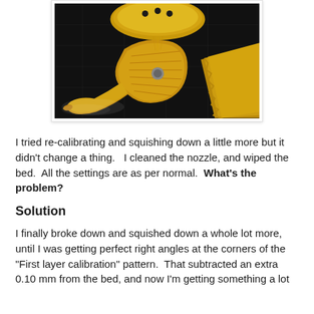[Figure (photo): Close-up photo of 3D printed objects on a dark print bed, showing golden/yellow filament prints with visible layering issues and stringing artifacts.]
I tried re-calibrating and squishing down a little more but it didn't change a thing.   I cleaned the nozzle, and wiped the bed.  All the settings are as per normal.  What's the problem?
Solution
I finally broke down and squished down a whole lot more, until I was getting perfect right angles at the corners of the "First layer calibration" pattern.  That subtracted an extra 0.10 mm from the bed, and now I'm getting something a lot